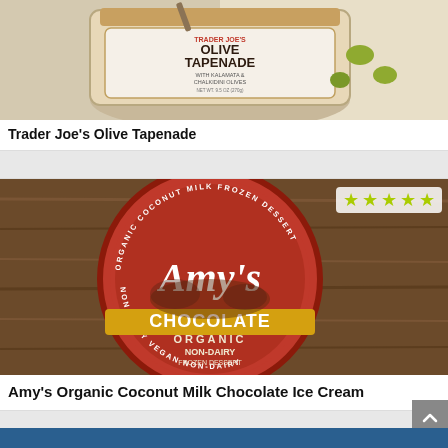[Figure (photo): Trader Joe's Olive Tapenade jar with kalamata and chalkidini olives on a white cloth background, top-down view]
Trader Joe’s Olive Tapenade
[Figure (photo): Amy's Organic Coconut Milk Chocolate Ice Cream container lid viewed from above, showing the red circular design with Amy's script logo, CHOCOLATE ORGANIC NON-DAIRY FROZEN DESSERT text, on a wooden background]
Amy’s Organic Coconut Milk Chocolate Ice Cream